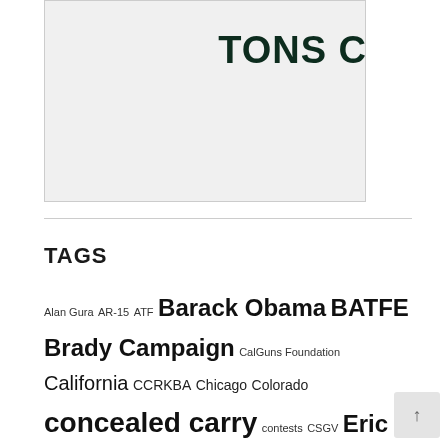[Figure (other): Partial image box showing 'TONS C' text in dark green, cropped at right edge, on light gray background]
TAGS
Alan Gura AR-15 ATF Barack Obama BATFE Brady Campaign CalGuns Foundation California CCRKBA Chicago Colorado concealed carry contests CSGV Eric Holder Everytown for Gun Safety Firearms Policy Coalition Grass